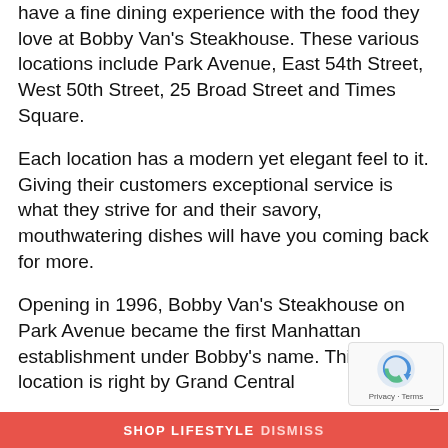have a fine dining experience with the food they love at Bobby Van's Steakhouse. These various locations include Park Avenue, East 54th Street, West 50th Street, 25 Broad Street and Times Square.
Each location has a modern yet elegant feel to it. Giving their customers exceptional service is what they strive for and their savory, mouthwatering dishes will have you coming back for more.
Opening in 1996, Bobby Van's Steakhouse on Park Avenue became the first Manhattan establishment under Bobby's name. This prime location is right by Grand Central
SHOP LIFESTYLE DISMISS